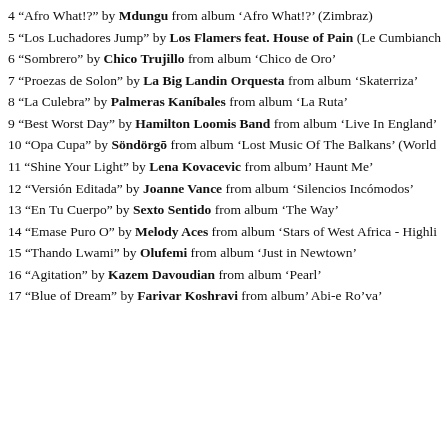4 “Afro What!?” by Mdungu from album ‘Afro What!?’ (Zimbraz)
5 “Los Luchadores Jump” by Los Flamers feat. House of Pain (Le Cumbianch
6 “Sombrero” by Chico Trujillo from album ‘Chico de Oro’
7 “Proezas de Solon” by La Big Landin Orquesta from album ‘Skaterriza’
8 “La Culebra” by Palmeras Kaníbales from album ‘La Ruta’
9 “Best Worst Day” by Hamilton Loomis Band from album ‘Live In England’
10 “Opa Cupa” by Söndörgō from album ‘Lost Music Of The Balkans’ (World
11 “Shine Your Light” by Lena Kovacevic from album’ Haunt Me’
12 “Versión Editada” by Joanne Vance from album ‘Silencios Incómodos’
13 “En Tu Cuerpo” by Sexto Sentido from album ‘The Way’
14 “Emase Puro O” by Melody Aces from album ‘Stars of West Africa - Highli
15 “Thando Lwami” by Olufemi from album ‘Just in Newtown’
16 “Agitation” by Kazem Davoudian from album ‘Pearl’
17 “Blue of Dream” by Farivar Koshravi from album’ Abi-e Ro’va’